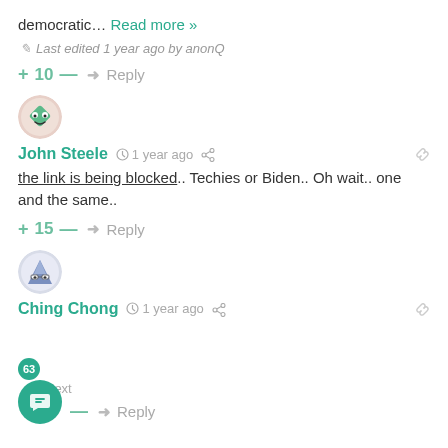democratic… Read more »
Last edited 1 year ago by anonQ
+ 10 — → Reply
[Figure (illustration): Round avatar with cartoon green diamond-shaped character with big eyes and smile]
John Steele  1 year ago  [share] [link]
the link is being blocked.. Techies or Biden.. Oh wait.. one and the same..
+ 15 — → Reply
[Figure (illustration): Round avatar with cartoon blue/purple triangular mountain character with glasses]
Ching Chong  1 year ago  [share] [link]
63 Next
→ Reply
[Figure (illustration): Teal circular chat FAB button with message icon]